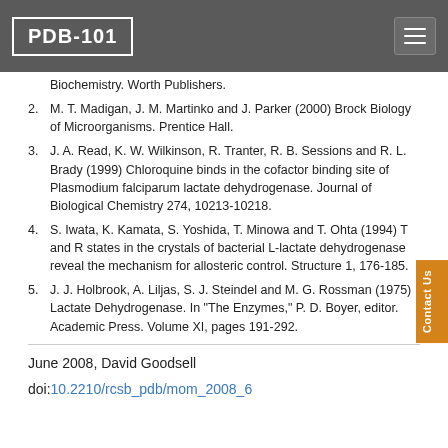PDB-101
Biochemistry. Worth Publishers.
M. T. Madigan, J. M. Martinko and J. Parker (2000) Brock Biology of Microorganisms. Prentice Hall.
J. A. Read, K. W. Wilkinson, R. Tranter, R. B. Sessions and R. L. Brady (1999) Chloroquine binds in the cofactor binding site of Plasmodium falciparum lactate dehydrogenase. Journal of Biological Chemistry 274, 10213-10218.
S. Iwata, K. Kamata, S. Yoshida, T. Minowa and T. Ohta (1994) T and R states in the crystals of bacterial L-lactate dehydrogenase reveal the mechanism for allosteric control. Structure 1, 176-185.
J. J. Holbrook, A. Liljas, S. J. Steindel and M. G. Rossman (1975) Lactate Dehydrogenase. In "The Enzymes," P. D. Boyer, editor. Academic Press. Volume XI, pages 191-292.
June 2008, David Goodsell
doi:10.2210/rcsb_pdb/mom_2008_6